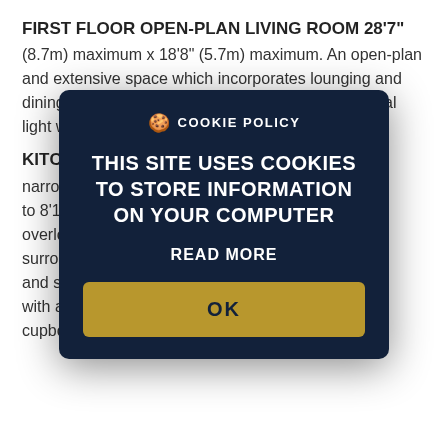FIRST FLOOR OPEN-PLAN LIVING ROOM 28'7"
(8.7m) maximum x 18'8" (5.7m) maximum. An open-plan and extensive space which incorporates lounging and dining. A triple aspect room enjoying plenty of natural light with access to both
KITCHEN
narrowing to 8'1" (overlooks surroundings windows and sea. Fitted with an cupboards and contrasting work surfaces with
[Figure (screenshot): Cookie policy modal dialog with dark navy background, showing 'COOKIE POLICY' header with cookie icon, main text 'THIS SITE USES COOKIES TO STORE INFORMATION ON YOUR COMPUTER', a 'READ MORE' link, and a gold/tan 'OK' button.]